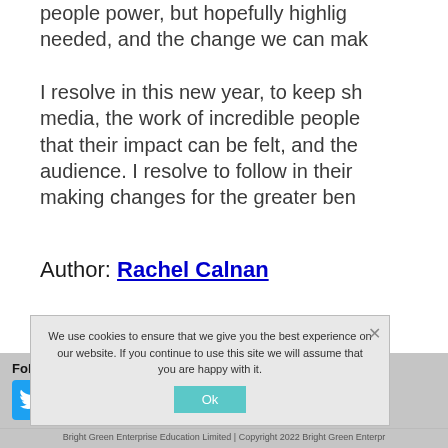people power, but hopefully highlighting the change needed, and the change we can make.
I resolve in this new year, to keep sharing via social media, the work of incredible people and projects, so that their impact can be felt, and they can reach a wider audience. I resolve to follow in their footsteps by making changes for the greater benefit.
Author: Rachel Calnan
Follow Us
[Figure (logo): Social media icons: Twitter (blue bird), Facebook (blue f), YouTube (red/white)]
We use cookies to ensure that we give you the best experience on our website. If you continue to use this site we will assume that you are happy with it. Ok
Bright Green Enterprise Education Limited | Copyright 2022 Bright Green Enterprise